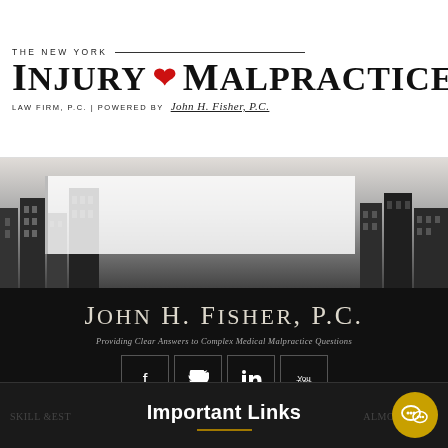[Figure (logo): The New York Injury & Malpractice Law Firm, P.C. | Powered by John H. Fisher, P.C. logo with phone icon and hamburger menu]
[Figure (photo): Grayscale cityscape / New York City skyline photo strip]
[Figure (logo): John H. Fisher, P.C. — Providing Clear Answers to Complex Medical Malpractice Questions — dark background logo with social media icons (Facebook, Twitter, LinkedIn, YouTube)]
Important Links